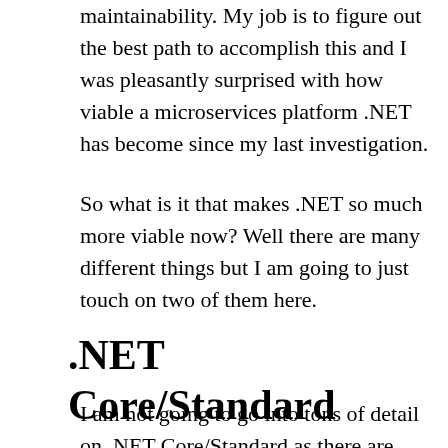maintainability. My job is to figure out the best path to accomplish this and I was pleasantly surprised with how viable a microservices platform .NET has become since my last investigation.
So what is it that makes .NET so much more viable now?  Well there are many different things but I am going to just touch on two of them here.
.NET Core/Standard
I am not going to go into tons of detail on .NET Core/Standard as there are tons of articles out